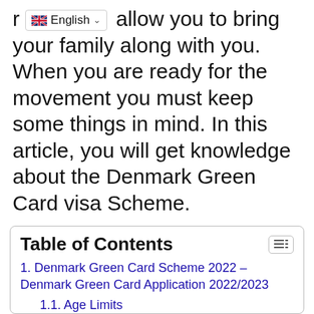r [English dropdown] allow you to bring your family along with you. When you are ready for the movement you must keep some things in mind. In this article, you will get knowledge about the Denmark Green Card visa Scheme.
| Table of Contents |
| 1. Denmark Green Card Scheme 2022 – Denmark Green Card Application 2022/2023 |
| 1.1. Age Limits |